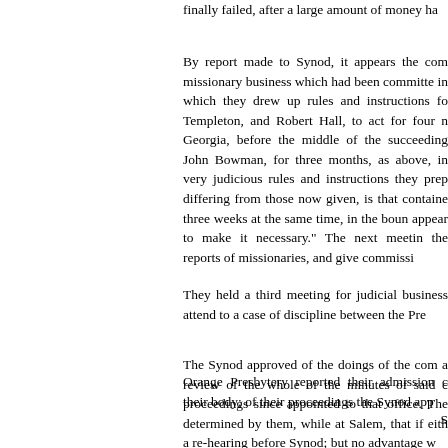finally failed, after a large amount of money ha
By report made to Synod, it appears the com missionary business which had been committe in which they drew up rules and instructions fo Templeton, and Robert Hall, to act for four Georgia, before the middle of the succeeding John Bowman, for three months, as above, i very judicious rules and instructions they pre differing from those now given, is that containe three weeks at the same time, in the boun appear to make it necessary." The next meeti the reports of missionaries, and give commissi
They held a third meeting for judicial business attend to a case of discipline between the Pre
The Synod approved of the doings of the com a review of the whole of the minutes of said proceedings since appointed to that office. Th determined by them, while at Salem, that if eit a re-hearing before Synod; but no advantage w
Orange Presbytery reported their admission their body; of their proceedings the Synod app
S